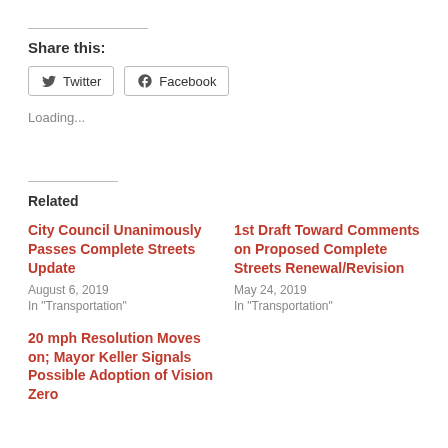Share this:
Twitter  Facebook
Loading...
Related
City Council Unanimously Passes Complete Streets Update
August 6, 2019
In "Transportation"
1st Draft Toward Comments on Proposed Complete Streets Renewal/Revision
May 24, 2019
In "Transportation"
20 mph Resolution Moves on; Mayor Keller Signals Possible Adoption of Vision Zero